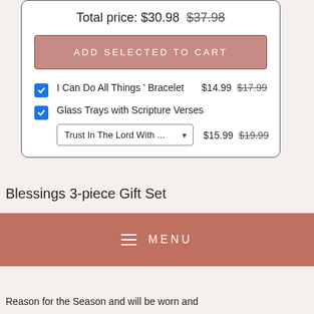Total price: $30.98  $37.98
ADD SELECTED TO CART
I Can Do All Things ' Bracelet  $14.99  $17.99
Glass Trays with Scripture Verses
Trust In The Lord With ...  $15.99  $19.99
Blessings 3-piece Gift Set
MENU
Reason for the Season and will be worn and